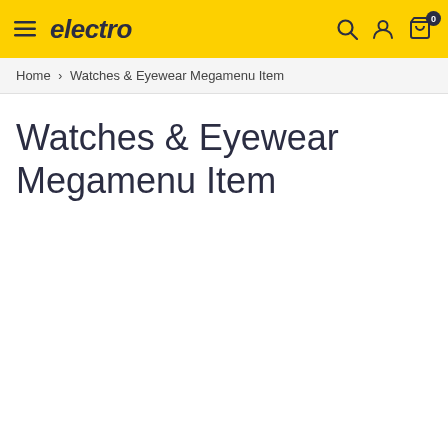electro — navigation header with hamburger menu, logo, search, user, and cart icons
Home > Watches & Eyewear Megamenu Item
Watches & Eyewear Megamenu Item